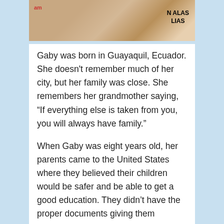[Figure (photo): Photograph of a person at a rally or demonstration, with text visible including 'N ALAS' and 'LIAS' on a sign or shirt in the background, and partial red text on the left.]
Gaby was born in Guayaquil, Ecuador. She doesn't remember much of her city, but her family was close. She remembers her grandmother saying, “If everything else is taken from you, you will always have family.”
When Gaby was eight years old, her parents came to the United States where they believed their children would be safer and be able to get a good education. They didn’t have the proper documents giving them permission to come. This isn’t a crime. But it is against the civil law, and there is always a risk that undocumented